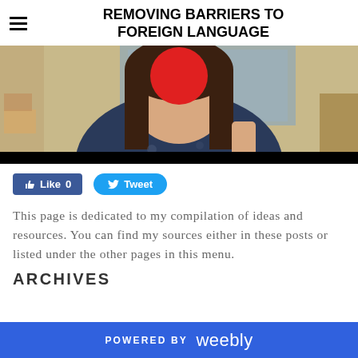REMOVING BARRIERS TO FOREIGN LANGUAGE
[Figure (photo): Screenshot of a video showing a woman with long brown hair wearing a dark floral top, with a classroom/map background. A red circle blurs part of her face. The video player has a black bar at the bottom.]
Like 0   Tweet
This page is dedicated to my compilation of ideas and resources. You can find my sources either in these posts or listed under the other pages in this menu.
ARCHIVES
POWERED BY weebly